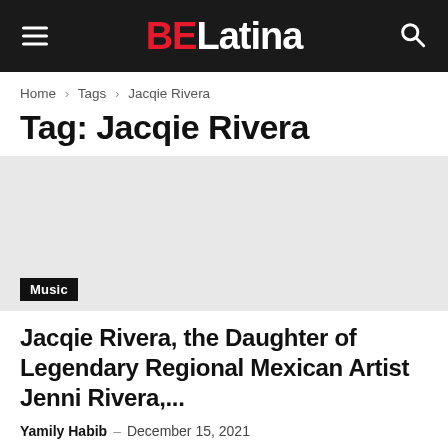BE Latina
Home › Tags › Jacqie Rivera
Tag: Jacqie Rivera
[Figure (photo): Article thumbnail image area (blank/placeholder)]
Music
Jacqie Rivera, the Daughter of Legendary Regional Mexican Artist Jenni Rivera,...
Yamily Habib – December 15, 2021
Jacqie Rivera is determined to carry on the legacy of her mother